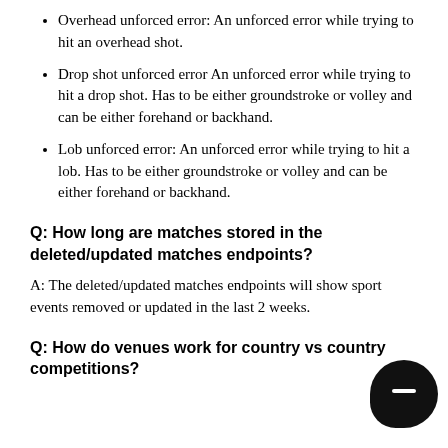Overhead unforced error: An unforced error while trying to hit an overhead shot.
Drop shot unforced error An unforced error while trying to hit a drop shot. Has to be either groundstroke or volley and can be either forehand or backhand.
Lob unforced error: An unforced error while trying to hit a lob. Has to be either groundstroke or volley and can be either forehand or backhand.
Q: How long are matches stored in the deleted/updated matches endpoints?
A: The deleted/updated matches endpoints will show sport events removed or updated in the last 2 weeks.
Q: How do venues work for country vs country competitions?